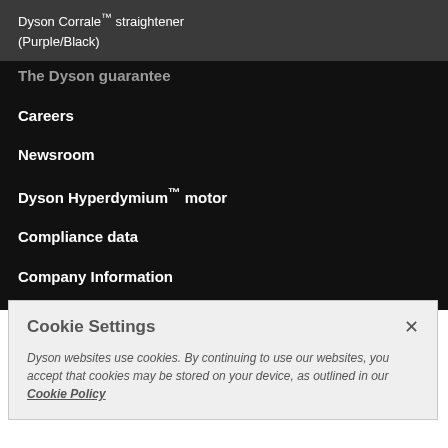Dyson Corrale™ straightener (Purple/Black)
The Dyson guarantee
Careers
Newsroom
Dyson Hyperdymium™ motor
Compliance data
Company Information
AM04/AM05 safety recall
Sustainability
Gender Pay Gap 2021
Cookie Settings

Dyson websites use cookies. By continuing to use our websites, you accept that cookies may be stored on your device, as outlined in our Cookie Policy